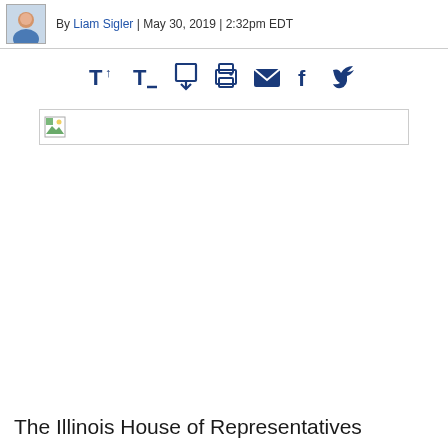By Liam Sigler | May 30, 2019 | 2:32pm EDT
[Figure (other): Toolbar with text size controls (T up, T down, T up arrow), print icon, email icon, Facebook and Twitter social share icons, all in dark blue]
[Figure (photo): Broken/missing image placeholder with small thumbnail icon and border]
The Illinois House of Representatives